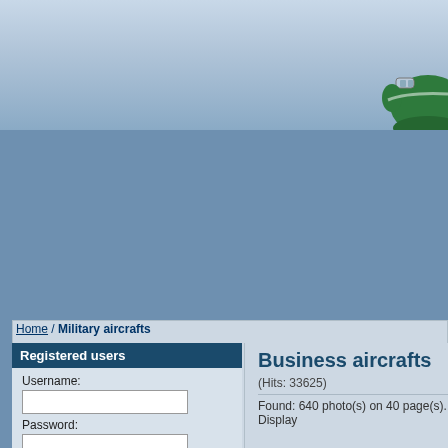[Figure (photo): Header banner showing a green airplane nose/cockpit against a light blue sky background]
Home / Military aircrafts
Registered users
Business aircrafts
(Hits: 33625)
Found: 640 photo(s) on 40 page(s). Display